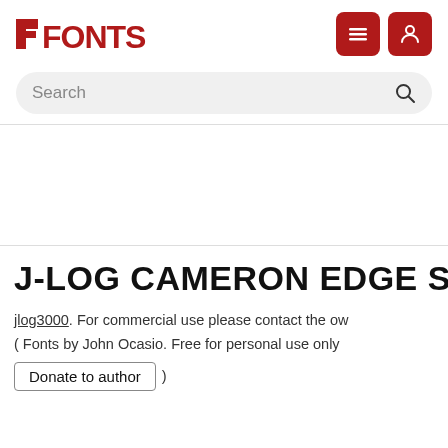FONTS
Search
J-LOG CAMERON EDGE SANS SMALL
jlog3000. For commercial use please contact the owner ( Fonts by John Ocasio. Free for personal use only
Donate to author )